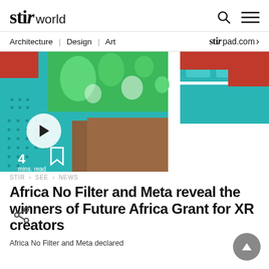stir world
Architecture | Design | Art    stir pad.com
[Figure (photo): Colorful decorative image with teal, green, and red mosaic patterns at the top, overlaid with a play button circle, time indicator '4 mins. read', and a bookmark icon. Brown/skin tone lower portion visible.]
STIR > SEE > NEWS
Africa No Filter and Meta reveal the winners of Future Africa Grant for XR creators
Africa No Filter and Meta declared